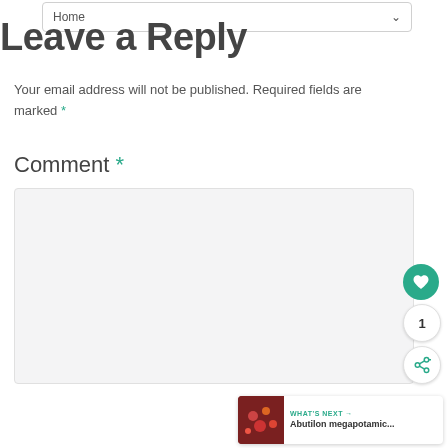Home
Leave a Reply
Your email address will not be published. Required fields are marked *
Comment *
[Figure (other): Empty comment text area input box with light gray background]
[Figure (other): Floating action buttons: heart/like button (teal), count badge showing 1, and share button]
WHAT'S NEXT → Abutilon megapotamic...